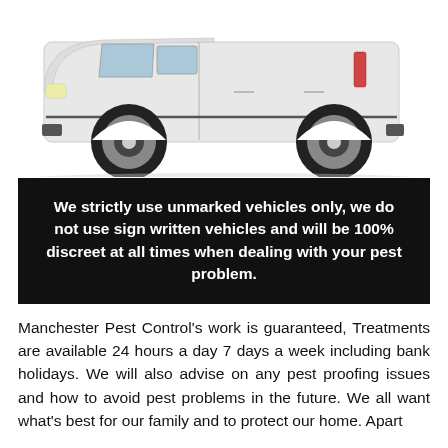[Figure (photo): Side view of a white unmarked panel van (Volkswagen Caddy style) on a white background.]
We strictly use unmarked vehicles only, we do not use sign written vehicles and will be 100% discreet at all times when dealing with your pest problem.
Manchester Pest Control's work is guaranteed, Treatments are available 24 hours a day 7 days a week including bank holidays. We will also advise on any pest proofing issues and how to avoid pest problems in the future. We all want what's best for our family and to protect our home. Apart from that there are also health concerns...